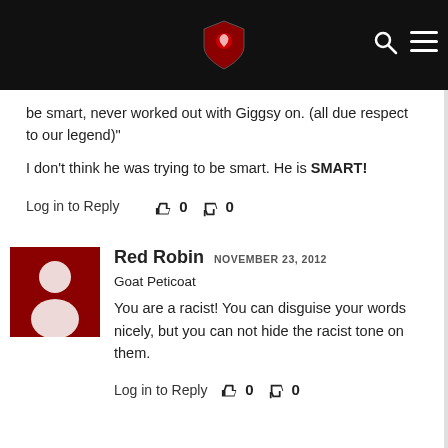REDS NEWS [logo with shield icon]
be smart, never worked out with Giggsy on. (all due respect to our legend)"
I don't think he was trying to be smart. He is SMART!
Log in to Reply  👍 0  👎 0
Red Robin  NOVEMBER 23, 2012
Goat Peticoat
You are a racist! You can disguise your words nicely, but you can not hide the racist tone on them.
Log in to Reply  👍 0  👎 0